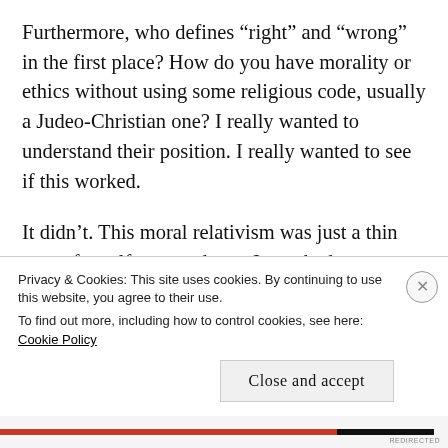Furthermore, who defines “right” and “wrong” in the first place? How do you have morality or ethics without using some religious code, usually a Judeo-Christian one? I really wanted to understand their position. I really wanted to see if this worked.
It didn’t. This moral relativism was just a thin cover for self-centeredness. I watched as one ran through a string of boyfriends and multiple abortions. She justified her cheating and the refusal to take responsibility for her actions – and the…
Privacy & Cookies: This site uses cookies. By continuing to use this website, you agree to their use.
To find out more, including how to control cookies, see here: Cookie Policy
Close and accept